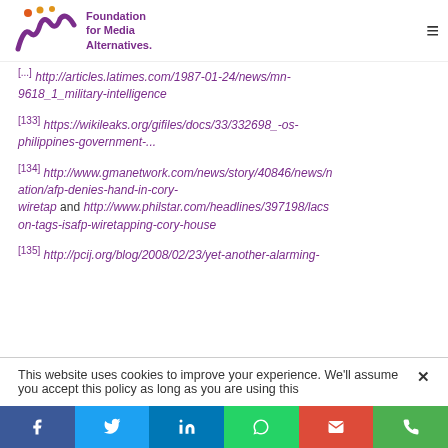Foundation for Media Alternatives
[...] http://articles.latimes.com/1987-01-24/news/mn-9618_1_military-intelligence
[133] https://wikileaks.org/gifiles/docs/33/332698_-os-philippines-government-...
[134] http://www.gmanetwork.com/news/story/40846/news/nation/afp-denies-hand-in-cory-wiretap and http://www.philstar.com/headlines/397198/lacson-tags-isafp-wiretapping-cory-house
[135] http://pcij.org/blog/2008/02/23/yet-another-alarming-
This website uses cookies to improve your experience. We'll assume you accept this policy as long as you are using this